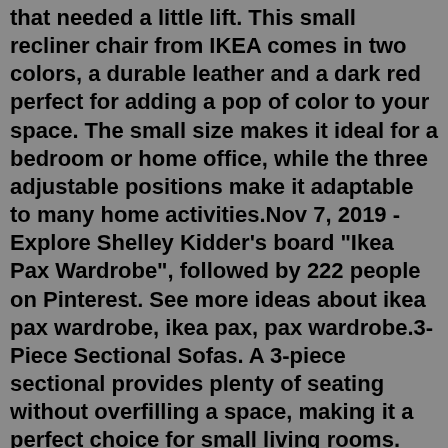that needed a little lift. This small recliner chair from IKEA comes in two colors, a durable leather and a dark red perfect for adding a pop of color to your space. The small size makes it ideal for a bedroom or home office, while the three adjustable positions make it adaptable to many home activities.Nov 7, 2019 - Explore Shelley Kidder's board "Ikea Pax Wardrobe", followed by 222 people on Pinterest. See more ideas about ikea pax wardrobe, ikea pax, pax wardrobe.3-Piece Sectional Sofas. A 3-piece sectional provides plenty of seating without overfilling a space, making it a perfect choice for small living rooms. These sofas usually feature a stylish L-shape that can help define a room's layout and optimize the space. With a 3-piece sectional in your living room, you will have more space for other ...Bedroom. A good night's sleep in a comfy bed. Bedroom furniture that gives you space to store your things (in a way that means you'll find them again). With warm lighting to set the mood and soft textiles to snuggle up in. All at a price